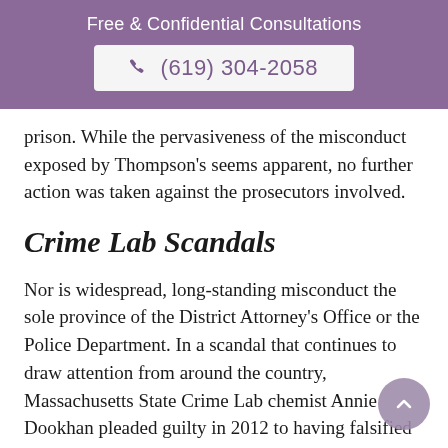Free & Confidential Consultations
(619) 304-2058
prison. While the pervasiveness of the misconduct exposed by Thompson's seems apparent, no further action was taken against the prosecutors involved.
Crime Lab Scandals
Nor is widespread, long-standing misconduct the sole province of the District Attorney's Office or the Police Department. In a scandal that continues to draw attention from around the country, Massachusetts State Crime Lab chemist Annie Dookhan pleaded guilty in 2012 to having falsified records relating to more than 60,000 tests of alleged illegal drugs. According to court records